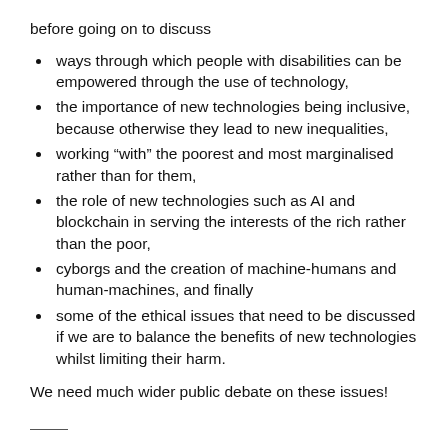before going on to discuss
ways through which people with disabilities can be empowered through the use of technology,
the importance of new technologies being inclusive, because otherwise they lead to new inequalities,
working “with” the poorest and most marginalised rather than for them,
the role of new technologies such as AI and blockchain in serving the interests of the rich rather than the poor,
cyborgs and the creation of machine-humans and human-machines, and finally
some of the ethical issues that need to be discussed if we are to balance the benefits of new technologies whilst limiting their harm.
We need much wider public debate on these issues!